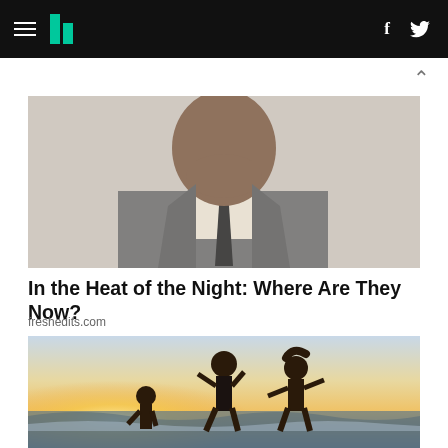HuffPost navigation with hamburger menu, logo, Facebook and Twitter icons
[Figure (photo): Close-up photo of a Black man in a grey suit and dark tie, photographed from mid-chest up, face partially visible from nose down, against a light brick wall background]
In the Heat of the Night: Where Are They Now?
freshedits.com
[Figure (photo): Photo of three people dancing/running on a beach at sunset with ocean waves in the background, backlit by warm golden light]